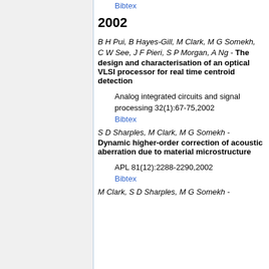Bibtex
2002
B H Pui, B Hayes-Gill, M Clark, M G Somekh, C W See, J F Pieri, S P Morgan, A Ng - The design and characterisation of an optical VLSI processor for real time centroid detection
Analog integrated circuits and signal processing 32(1):67-75,2002
Bibtex
S D Sharples, M Clark, M G Somekh - Dynamic higher-order correction of acoustic aberration due to material microstructure
APL 81(12):2288-2290,2002
Bibtex
M Clark, S D Sharples, M G Somekh -